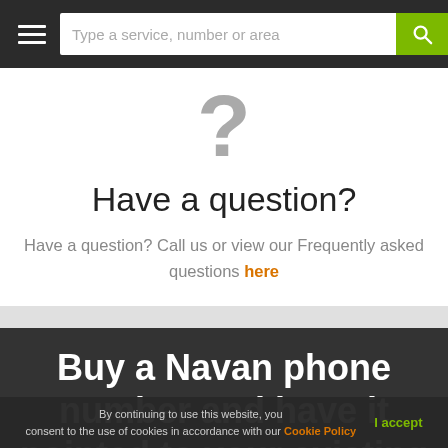Type a service, number or area
[Figure (illustration): Large grey question mark icon]
Have a question?
Have a question? Call us or view our Frequently asked questions here
Buy a Navan phone number and have it pointed to your existing landline or mobile
By continuing to use this website, you consent to the use of cookies in accordance with our Cookie Policy